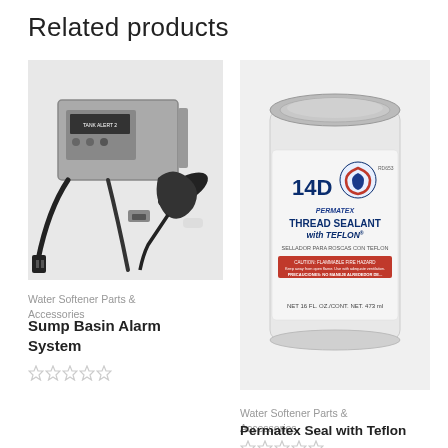Related products
[Figure (photo): Sump Basin Alarm System device with black float sensor and power cable, gray electronic box labeled TANK ALERT]
Water Softener Parts & Accessories
Sump Basin Alarm System
[Figure (photo): Permatex 14D Thread Sealant with Teflon, white cylindrical can with metal lid, 16 fl oz]
Water Softener Parts & Accessories
Permatex Seal with Teflon